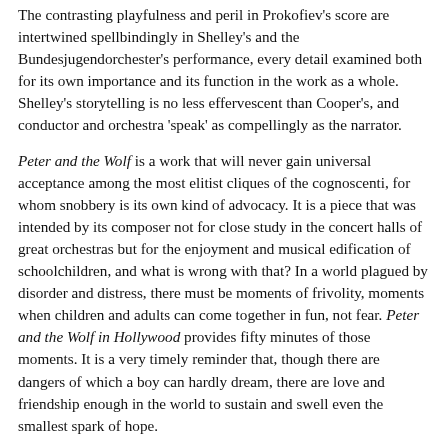The contrasting playfulness and peril in Prokofiev's score are intertwined spellbindingly in Shelley's and the Bundesjugendorchester's performance, every detail examined both for its own importance and its function in the work as a whole. Shelley's storytelling is no less effervescent than Cooper's, and conductor and orchestra 'speak' as compellingly as the narrator.
Peter and the Wolf is a work that will never gain universal acceptance among the most elitist cliques of the cognoscenti, for whom snobbery is its own kind of advocacy. It is a piece that was intended by its composer not for close study in the concert halls of great orchestras but for the enjoyment and musical edification of schoolchildren, and what is wrong with that? In a world plagued by disorder and distress, there must be moments of frivolity, moments when children and adults can come together in fun, not fear. Peter and the Wolf in Hollywood provides fifty minutes of those moments. It is a very timely reminder that, though there are dangers of which a boy can hardly dream, there are love and friendship enough in the world to sustain and swell even the smallest spark of hope.